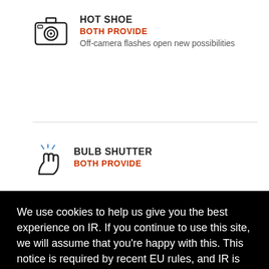[Figure (illustration): Camera with hot shoe icon]
HOT SHOE
BOTH PROVIDE
Off-camera flashes open new possibilities
[Figure (illustration): Bulb shutter / finger press icon]
BULB SHUTTER
BOTH PROVIDE
We use cookies to help us give you the best experience on IR. If you continue to use this site, we will assume that you're happy with this. This notice is required by recent EU rules, and IR is read globally, so we need to keep the bureaucrats off our case!
Learn more
Got it!
s
utter
speeds